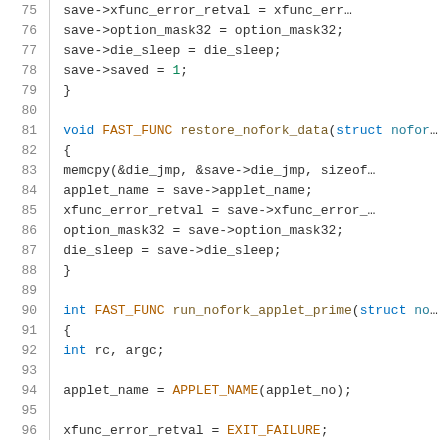[Figure (screenshot): Source code listing in C showing lines 75-96 of a file. Lines show save_nofork_data and restore_nofork_data functions, and the beginning of run_nofork_applet_prime function. Syntax highlighted with blue keywords, orange/brown macros, and dark text for identifiers.]